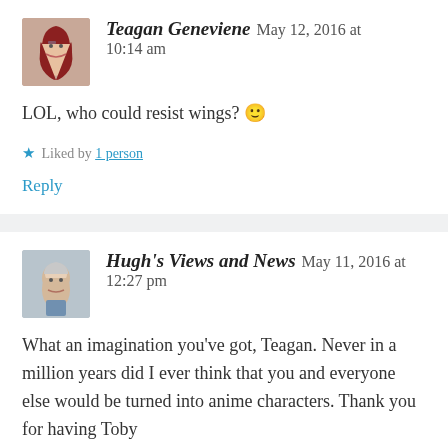[Figure (photo): Avatar of Teagan Geneviene - woman with red hair]
Teagan Geneviene   May 12, 2016 at 10:14 am
LOL, who could resist wings? 🙂
★ Liked by 1 person
Reply
[Figure (photo): Avatar of Hugh's Views and News - older man]
Hugh's Views and News   May 11, 2016 at 12:27 pm
What an imagination you've got, Teagan. Never in a million years did I ever think that you and everyone else would be turned into anime characters. Thank you for having Toby